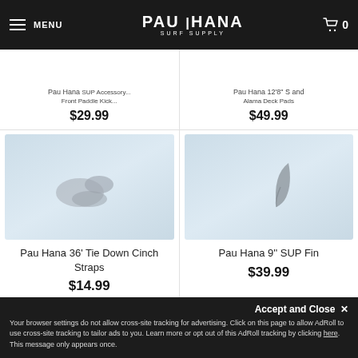Pau Hana Surf Supply — MENU | Cart 0
Pau Hana ... $29.99
Pau Hana ... $49.99
[Figure (photo): Product image of Pau Hana 36' Tie Down Cinch Straps - blurred gray product on light blue background]
Pau Hana 36' Tie Down Cinch Straps
$14.99
[Figure (photo): Product image of Pau Hana 9'' SUP Fin - gray fin shape on light blue background]
Pau Hana 9'' SUP Fin
$39.99
[Figure (photo): Partially visible product images in bottom row]
Accept and Close ✕
Your browser settings do not allow cross-site tracking for advertising. Click on this page to allow AdRoll to use cross-site tracking to tailor ads to you. Learn more or opt out of this AdRoll tracking by clicking here. This message only appears once.